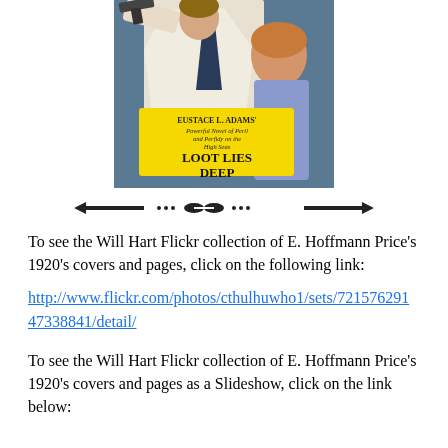[Figure (illustration): Book cover illustration showing a man in a white suit holding a gun and a woman, with yellow banner text reading 'EUSTACE L. ADAMS' Powerful Novel of Peril and Perfidy on the High Seas LOOT LIES DEEP']
[Figure (other): Decorative horizontal divider with arrows and ornamental center piece]
To see the Will Hart Flickr collection of E. Hoffmann Price's 1920's covers and pages, click on the following link:
http://www.flickr.com/photos/cthulhuwho1/sets/72157629147338841/detail/
To see the Will Hart Flickr collection of E. Hoffmann Price's 1920's covers and pages as a Slideshow, click on the link below: